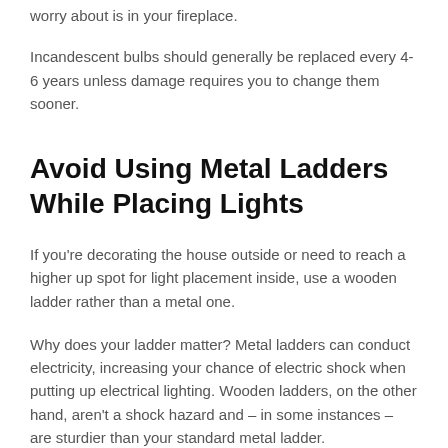worry about is in your fireplace.
Incandescent bulbs should generally be replaced every 4-6 years unless damage requires you to change them sooner.
Avoid Using Metal Ladders While Placing Lights
If you're decorating the house outside or need to reach a higher up spot for light placement inside, use a wooden ladder rather than a metal one.
Why does your ladder matter? Metal ladders can conduct electricity, increasing your chance of electric shock when putting up electrical lighting. Wooden ladders, on the other hand, aren't a shock hazard and – in some instances – are sturdier than your standard metal ladder.